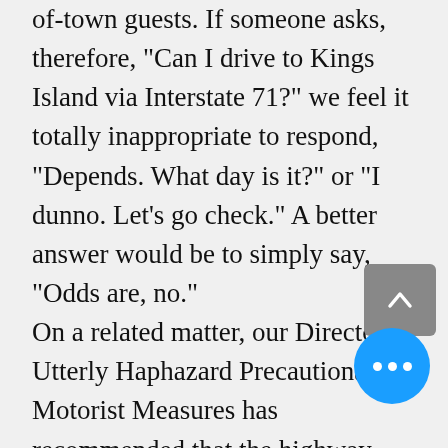of-town guests. If someone asks, therefore, "Can I drive to Kings Island via Interstate 71?" we feel it totally inappropriate to respond, "Depends. What day is it?" or "I dunno. Let's go check." A better answer would be to simply say, "Odds are, no." On a related matter, our Director of Utterly Haphazard Precautionary Motorist Measures has recommended that the highway department conduct a survey of commuters and their needs, in order to best spread the blame for our decision-making. We welcome the benefit of your thinking and input, as long as it doesn't interfere with what we've already decided to do. Above all, remember our proud